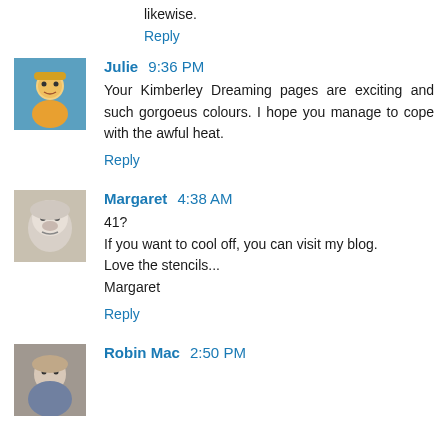likewise.
Reply
Julie 9:36 PM
Your Kimberley Dreaming pages are exciting and such gorgoeus colours. I hope you manage to cope with the awful heat.
Reply
Margaret 4:38 AM
41?
If you want to cool off, you can visit my blog.
Love the stencils...
Margaret
Reply
Robin Mac 2:50 PM